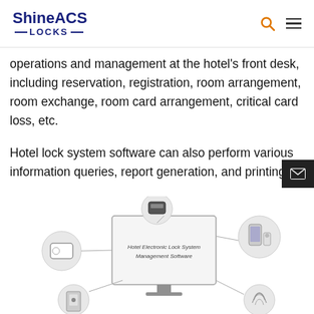ShineACS LOCKS
operations and management at the hotel's front desk, including reservation, registration, room arrangement, room exchange, room card arrangement, critical card loss, etc.
Hotel lock system software can also perform various information queries, report generation, and printing.
[Figure (infographic): Diagram showing Hotel Electronic Lock System Management Software on a monitor connected to various components including a key card reader, card encoder, mobile phone with smart lock, door lock, and other devices via lines.]